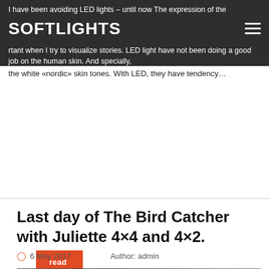SOFTLIGHTS
I have been avoiding LED lights – until now The expression of the light is very important when I try to visualize stories. LED light have not been doing a good job on the human skin. And specially, the white «nordic» skin tones. With LED, they have tendency…
read more ›
Last day of The Bird Catcher with Juliette 4×4 and 4×2.
6 May 2017   Author: admin
[Figure (photo): Behind-the-scenes photo on a film set showing a person with glasses and camera equipment in a dark interior setting with a window in the background]